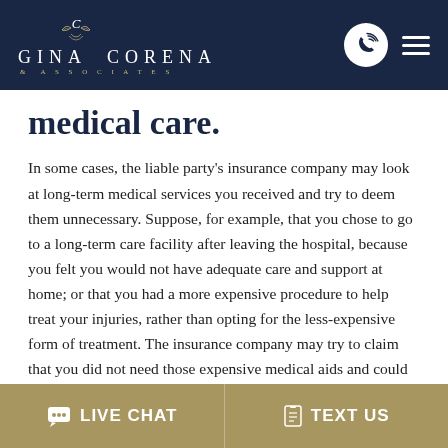GINA CORENA & ASSOCIATES
medical care.
In some cases, the liable party's insurance company may look at long-term medical services you received and try to deem them unnecessary. Suppose, for example, that you chose to go to a long-term care facility after leaving the hospital, because you felt you would not have adequate care and support at home; or that you had a more expensive procedure to help treat your injuries, rather than opting for the less-expensive form of treatment. The insurance company may try to claim that you did not need those expensive medical aids and could deny coverage for those specific elements of your care on the basis of
LIVE CHAT   TEXT US